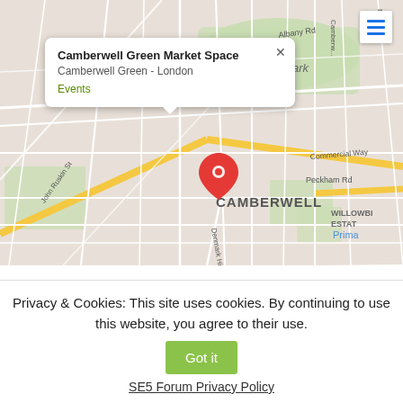[Figure (map): Google Maps screenshot showing Camberwell area in London, with a location pin at Camberwell Green and an info popup showing 'Camberwell Green Market Space', 'Camberwell Green - London', and 'Events' link. Map shows surrounding streets including John Ruskin St, Albany Rd, Peckham Rd, Commercial Way, Denmark Hill, and nearby areas Burgess Park and Willowbrook Estate.]
Farmer's Market
Date/Time
Privacy & Cookies: This site uses cookies. By continuing to use this website, you agree to their use.
Got it
SE5 Forum Privacy Policy